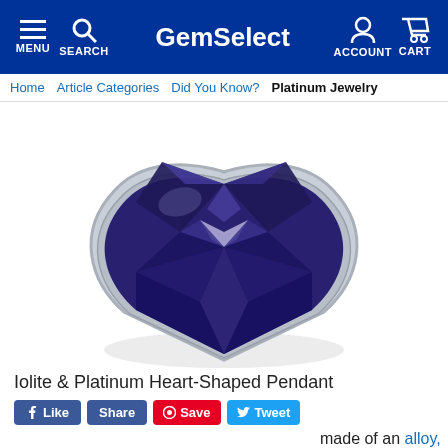GemSelect — MENU SEARCH ACCOUNT CART
Home | Article Categories | Did You Know? | Platinum Jewelry
[Figure (photo): Close-up photo of a heart-shaped iolite gemstone set in a platinum pendant. The deep violet-blue faceted heart gemstone is set in a silver/platinum bezel setting on a white background.]
Iolite & Platinum Heart-Shaped Pendant
Like | Share | Save | Tweet
made of an alloy,